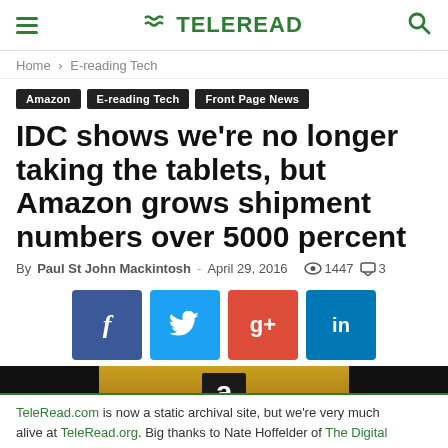≡ TELEREAD 🔍
Home › E-reading Tech
Amazon
E-reading Tech
Front Page News
IDC shows we're no longer taking the tablets, but Amazon grows shipment numbers over 5000 percent
By Paul St John Mackintosh - April 29, 2016  👁 1447  💬 3
[Figure (other): Social sharing buttons: Facebook, Twitter, Google+, LinkedIn]
[Figure (photo): Amazon logo/image with orange background and the letter A on dark banner]
TeleRead.com is now a static archival site, but we're very much alive at TeleRead.org. Big thanks to Nate Hoffelder of The Digital